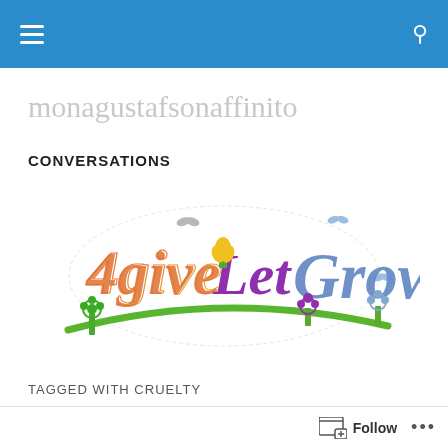monagustafsonaffinito
CONVERSATIONS
[Figure (logo): 4giveLet Grow logo with colorful script lettering, flowers, butterflies and a green swoosh arc]
TAGGED WITH CRUELTY
I'M HAPPY FOR THE
ATTENTION PAID TO M...
Follow